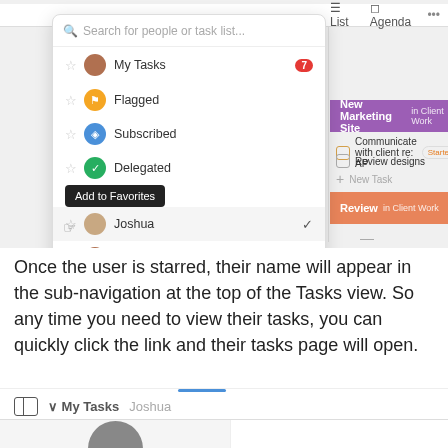[Figure (screenshot): App UI screenshot showing a dropdown panel with Search for people or task list... input, list items (My Tasks with badge 7, Flagged, Subscribed, Delegated, Add to Favorites tooltip, Joshua with checkmark, Shara, Tim), and a right panel showing New Marketing Site project bar, tasks (Communicate with client re: API - Started, Review designs, + New Task), Review project bar. Below left: completed tasks (Deploy feature, Share with beta group).]
Once the user is starred, their name will appear in the sub-navigation at the top of the Tasks view. So any time you need to view their tasks, you can quickly click the link and their tasks page will open.
[Figure (screenshot): Bottom navigation strip with panel layout icon, My Tasks dropdown, Joshua tab name, and partial screenshot showing user avatar silhouette at bottom.]